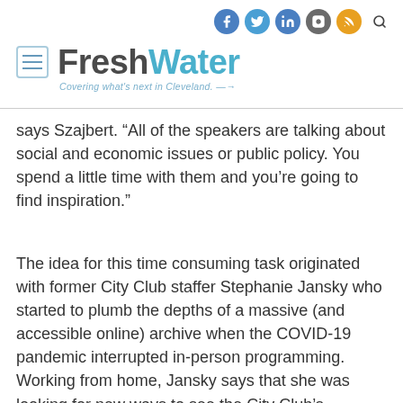FreshWater — Covering what's next in Cleveland.
says Szajbert. “All of the speakers are talking about social and economic issues or public policy. You spend a little time with them and you’re going to find inspiration.”
The idea for this time consuming task originated with former City Club staffer Stephanie Jansky who started to plumb the depths of a massive (and accessible online) archive when the COVID-19 pandemic interrupted in-person programming. Working from home, Jansky says that she was looking for new ways to see the City Club’s